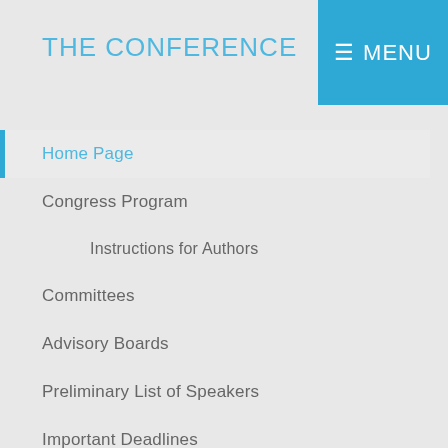THE CONFERENCE
Home Page
Congress Program
Instructions for Authors
Committees
Advisory Boards
Preliminary List of Speakers
Important Deadlines
Topics
Abstract Submission